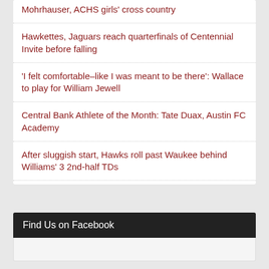Mohrhauser, ACHS girls' cross country
Hawkettes, Jaguars reach quarterfinals of Centennial Invite before falling
'I felt comfortable–like I was meant to be there': Wallace to play for William Jewell
Central Bank Athlete of the Month: Tate Duax, Austin FC Academy
After sluggish start, Hawks roll past Waukee behind Williams' 3 2nd-half TDs
Find Us on Facebook